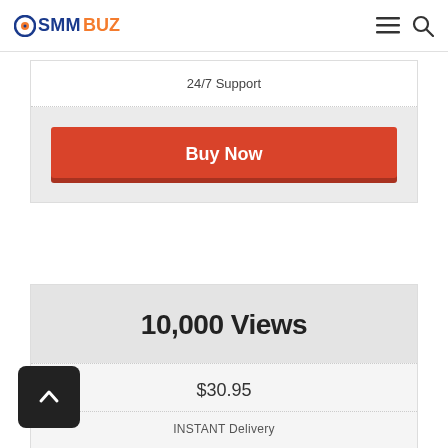OSMM BUZ
24/7 Support
Buy Now
10,000 Views
$30.95
INSTANT Delivery